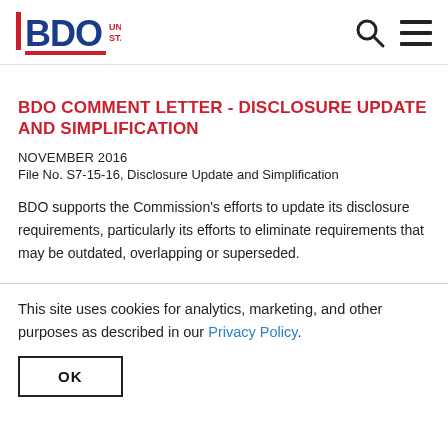BDO UNITED STATES
BDO COMMENT LETTER - DISCLOSURE UPDATE AND SIMPLIFICATION
NOVEMBER 2016
File No. S7-15-16, Disclosure Update and Simplification
BDO supports the Commission's efforts to update its disclosure requirements, particularly its efforts to eliminate requirements that may be outdated, overlapping or superseded.
This site uses cookies for analytics, marketing, and other purposes as described in our Privacy Policy.
OK